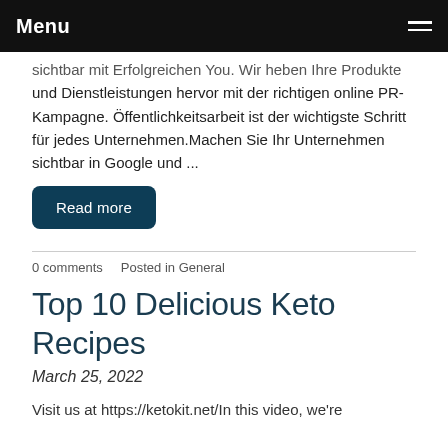Menu
sichtbar mit Erfolgreichen You. Wir heben Ihre Produkte und Dienstleistungen hervor mit der richtigen online PR-Kampagne. Öffentlichkeitsarbeit ist der wichtigste Schritt für jedes Unternehmen.Machen Sie Ihr Unternehmen sichtbar in Google und ...
Read more
0 comments   Posted in General
Top 10 Delicious Keto Recipes
March 25, 2022
Visit us at https://ketokit.net/In this video, we're